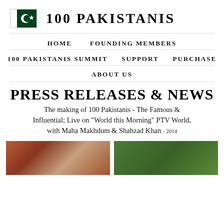100 PAKISTANIS
HOME   FOUNDING MEMBERS
100 PAKISTANIS SUMMIT   SUPPORT   PURCHASE
ABOUT US
PRESS RELEASES & NEWS
The making of 100 Pakistanis - The Famous & Influential; Live on "World this Morning" PTV World, with Maha Makhdum & Shahzad Khan -2014
[Figure (photo): Two photos side by side: left shows people at an event with colorful decorations, right shows a green grassy outdoor scene]